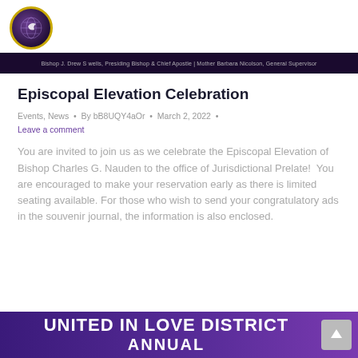[Figure (logo): Circular logo with gold border, dark purple background with globe/dove motif]
Bishop J. Drew S wells, Presiding Bishop & Chief Apostle | Mother Barbara Nicolson, General Supervisor
Episcopal Elevation Celebration
Events, News • By bB8UQY4aOr • March 2, 2022 • Leave a comment
You are invited to join us as we celebrate the Episcopal Elevation of Bishop Charles G. Nauden to the office of Jurisdictional Prelate! You are encouraged to make your reservation early as there is limited seating available. For those who wish to send your congratulatory ads in the souvenir journal, the information is also enclosed.
UNITED IN LOVE DISTRICT ANNUAL